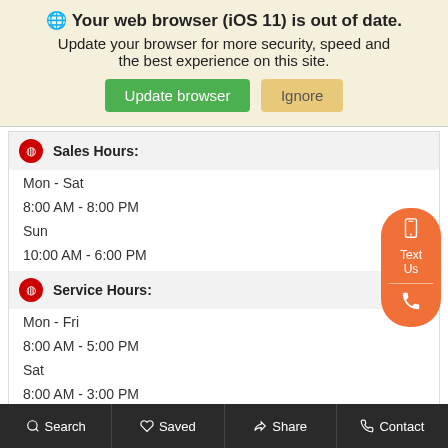🌐 Your web browser (iOS 11) is out of date. Update your browser for more security, speed and the best experience on this site.
Sales Hours:
Mon - Sat
8:00 AM - 8:00 PM
Sun
10:00 AM - 6:00 PM
Service Hours:
Mon - Fri
8:00 AM - 5:00 PM
Sat
8:00 AM - 3:00 PM
Sun
Closed
Search   Saved   Share   Contact